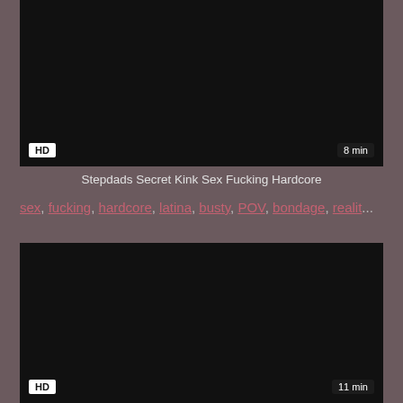[Figure (screenshot): Dark video thumbnail with HD badge bottom-left and '8 min' badge bottom-right]
Stepdads Secret Kink Sex Fucking Hardcore
sex, fucking, hardcore, latina, busty, POV, bondage, realit...
[Figure (screenshot): Dark video thumbnail with HD badge bottom-left and '11 min' badge bottom-right]